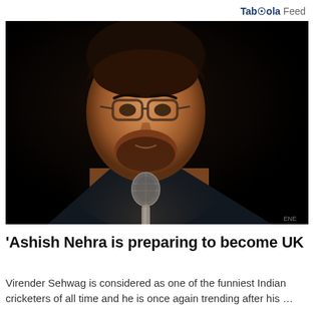Taboola Feed
[Figure (photo): A man with glasses holding a microphone against a dark background, wearing a dark jacket and green collar shirt]
'Ashish Nehra is preparing to become UK
Virender Sehwag is considered as one of the funniest Indian cricketers of all time and he is once again trending after his …